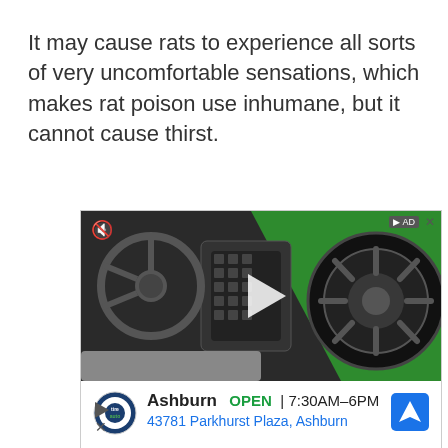It may cause rats to experience all sorts of very uncomfortable sensations, which makes rat poison use inhumane, but it cannot cause thirst.
[Figure (screenshot): An advertisement screenshot showing a video player with automotive tires/wheels on a green and dark background with a play button, a mute icon, and an ad label. Below the video is a Tire Auto store ad for Ashburn location showing OPEN 7:30AM-6PM and address 43781 Parkhurst Plaza, Ashburn with a navigation icon.]